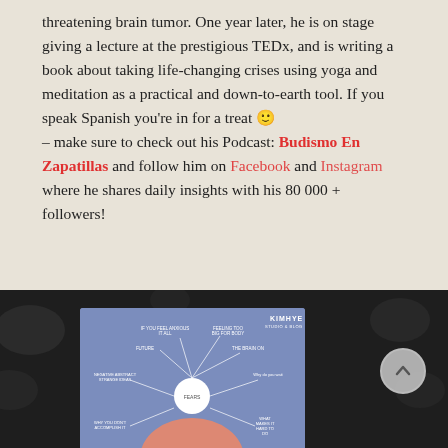threatening brain tumor. One year later, he is on stage giving a lecture at the prestigious TEDx, and is writing a book about taking life-changing crises using yoga and meditation as a practical and down-to-earth tool. If you speak Spanish you're in for a treat 🙂 – make sure to check out his Podcast: Budismo En Zapatillas and follow him on Facebook and Instagram where he shares daily insights with his 80 000 + followers!
[Figure (infographic): Partial view of a KIMHYE infographic card with blue/periwinkle background showing a radial diagram, placed over a dark blurred floral background. A circular back-to-top button is visible to the right.]